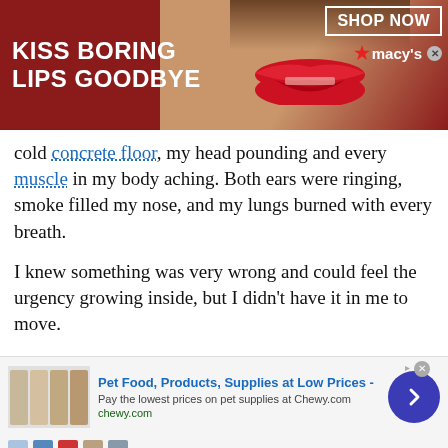[Figure (screenshot): Advertisement banner: dark red background with woman's face and red lips, text 'KISS BORING LIPS GOODBYE', 'SHOP NOW' button, Macy's star logo]
cold concrete floor, my head pounding and every muscle in my body aching. Both ears were ringing, smoke filled my nose, and my lungs burned with every breath.
I knew something was very wrong and could feel the urgency growing inside, but I didn't have it in me to move.
It felt like I'd fallen into a pit of fucking black tar, and I couldn't break free no matter how hard I tried. Even after hearing movement next to me, I
[Figure (screenshot): Advertisement for Chewy.com: Pet Food, Products, Supplies at Low Prices. Pay the lowest prices on pet supplies at Chewy.com. Shows a blue circular arrow button and product thumbnails.]